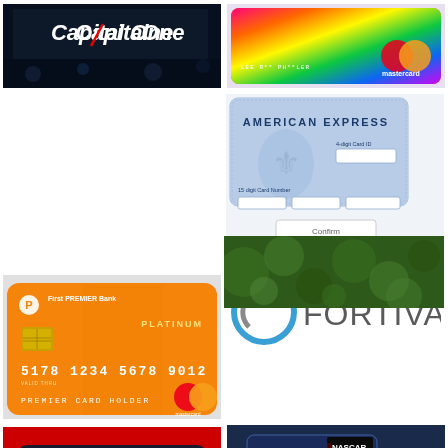[Figure (photo): Capital One logo/signage on dark background with blue lighting]
[Figure (photo): Colorful Mastercard credit card with bright multicolor design, cardholder name visible]
[Figure (screenshot): American Express card entry form with fields for 15-digit card number, 4-digit Card ID, and a Confirm button]
[Figure (photo): First Premier Bank Platinum Mastercard orange credit card with chip, card number 5178 1234 5678 9012, PREMIER CARD HOLDER]
[Figure (logo): FORTIVA logo with blue and gray circular F icon]
[Figure (photo): Blurred green background image (bokeh)]
[Figure (photo): American Airlines AAdvantage Aviator credit card by Barclays, dark card on red background]
[Figure (photo): Credit One Bank NASCAR themed credit cards with American flag and race car imagery]